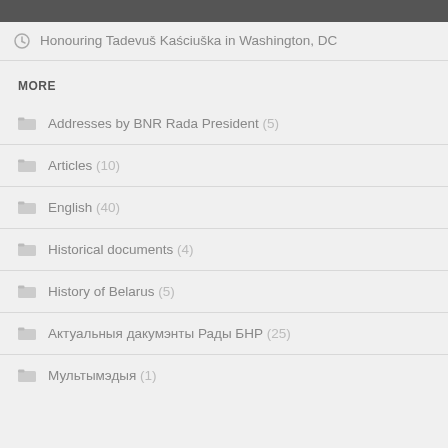Honouring Tadevuš Kaściuška in Washington, DC
MORE
Addresses by BNR Rada President (5)
Articles (10)
English (40)
Historical documents (4)
History of Belarus (5)
Актуальныя дакумэнты Рады БНР (25)
Мультымэдыя (1)